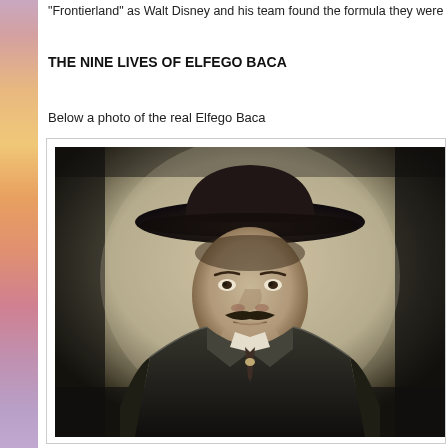"Frontierland" as Walt Disney and his team found the formula they were
THE NINE LIVES OF ELFEGO BACA
Below a photo of the real Elfego Baca
[Figure (photo): Black and white historical portrait photograph of Elfego Baca, a man wearing a wide-brimmed dark hat, a dark suit jacket with lapels, white shirt, and a tie with a decorative pin. He has a mustache and is looking directly at the camera.]